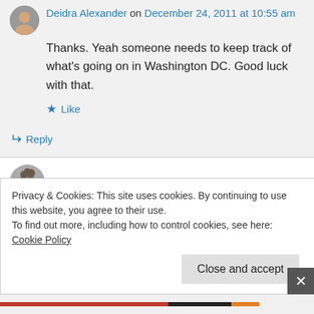Deidra Alexander on December 24, 2011 at 10:55 am
Thanks. Yeah someone needs to keep track of what's going on in Washington DC. Good luck with that.
Like
Reply
YoshiAnn on December 24, 2011 at 11:41 am
Privacy & Cookies: This site uses cookies. By continuing to use this website, you agree to their use. To find out more, including how to control cookies, see here: Cookie Policy
Close and accept